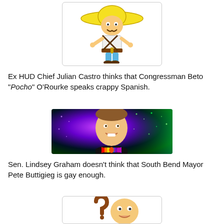[Figure (illustration): Cartoon illustration of a Mexican caricature character wearing a large yellow sombrero, with a bandolier belt, inside a white box with light border]
Ex HUD Chief Julian Castro thinks that Congressman Beto "Pocho" O'Rourke speaks crappy Spanish.
[Figure (photo): Photo of a man (Sen. Lindsey Graham) smiling, wearing a rainbow bowtie, against a colorful purple and green sparkle background]
Sen. Lindsey Graham doesn't think that South Bend Mayor Pete Buttigieg is gay enough.
[Figure (illustration): Partial cartoon illustration at bottom of page, cropped]